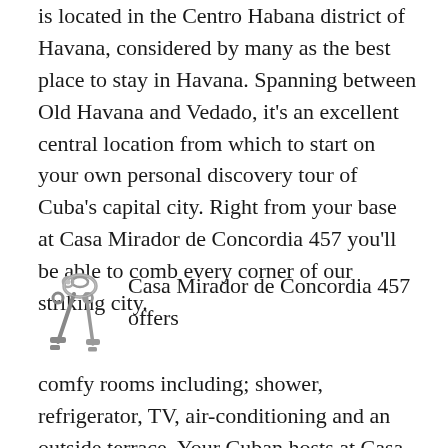is located in the Centro Habana district of Havana, considered by many as the best place to stay in Havana. Spanning between Old Havana and Vedado, it’s an excellent central location from which to start on your own personal discovery tour of Cuba’s capital city. Right from your base at Casa Mirador de Concordia 457 you’ll be able to comb every corner of our striking city.
[Figure (illustration): Small icon of a key ring with two keys hanging from it, rendered in grayscale]
Casa Mirador de Concordia 457 offers comfy rooms including; shower, refrigerator, TV, air-conditioning and an outside terrace. Your Cuban hosts at Casa Mirador de Concordia 457 are also available for advice on discovering the secrets of Havana; consider them as your private